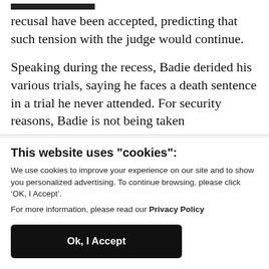recusal have been accepted, predicting that such tension with the judge would continue.
Speaking during the recess, Badie derided his various trials, saying he faces a death sentence in a trial he never attended. For security reasons, Badie is not being taken
This website uses "cookies":
We use cookies to improve your experience on our site and to show you personalized advertising. To continue browsing, please click ‘OK, I Accept’.
For more information, please read our Privacy Policy
Ok, I Accept